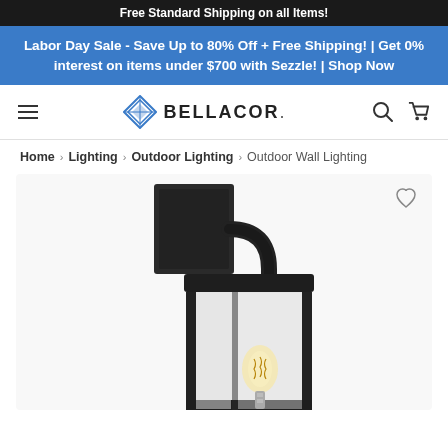Free Standard Shipping on all Items!
Labor Day Sale - Save Up to 80% Off + Free Shipping! | Get 0% interest on items under $700 with Sezzle! | Shop Now
[Figure (logo): Bellacor logo with diamond geometric icon]
Home > Lighting > Outdoor Lighting > Outdoor Wall Lighting
[Figure (photo): Close-up photo of a black outdoor wall lantern light fixture with clear glass panels and an exposed Edison-style bulb, mounted on a wall bracket with an arched top hook.]